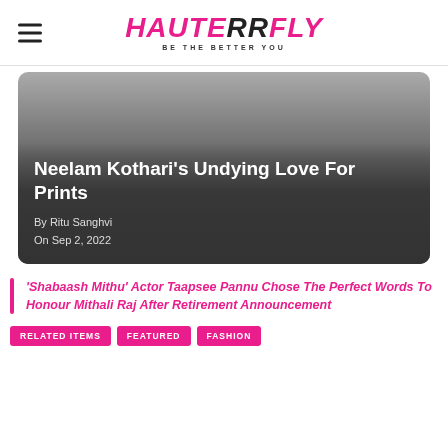HAUTERRFLY — BE THE BETTER YOU
[Figure (photo): Dark gradient article card image for 'Neelam Kothari's Undying Love For Prints']
Neelam Kothari's Undying Love For Prints
By Ritu Sanghvi
On Sep 2, 2022
'Shabaash Mithu' Actor Taapsee Pannu Chose The Perfect Words To Honour Mithali Raj After Retirement Announcement
RELATED ITEMS   FEATURED   FASHION